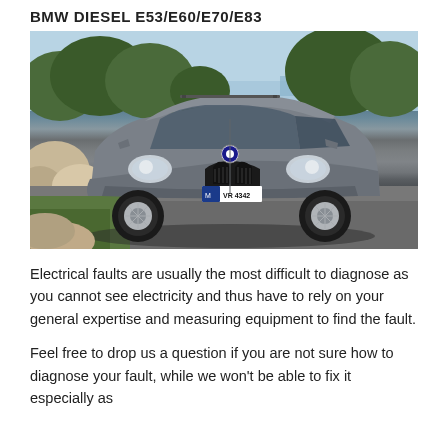BMW DIESEL E53/E60/E70/E83
[Figure (photo): BMW X5 SUV in grey/silver color driving on a road with rocky terrain and trees in the background. The license plate reads M VR 4342.]
Electrical faults are usually the most difficult to diagnose as you cannot see electricity and thus have to rely on your general expertise and measuring equipment to find the fault.
Feel free to drop us a question if you are not sure how to diagnose your fault, while we won't be able to fix it especially as